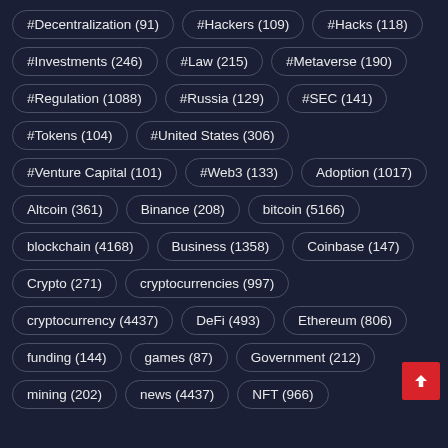#Decentralization (91)
#Hackers (109)
#Hacks (118)
#Investments (246)
#Law (215)
#Metaverse (190)
#Regulation (1088)
#Russia (129)
#SEC (141)
#Tokens (104)
#United States (306)
#Venture Capital (101)
#Web3 (133)
Adoption (1017)
Altcoin (361)
Binance (208)
bitcoin (5166)
blockchain (4168)
Business (1358)
Coinbase (147)
Crypto (271)
cryptocurrencies (997)
cryptocurrency (4437)
DeFi (493)
Ethereum (806)
funding (144)
games (87)
Government (212)
mining (202)
news (4437)
NFT (966)